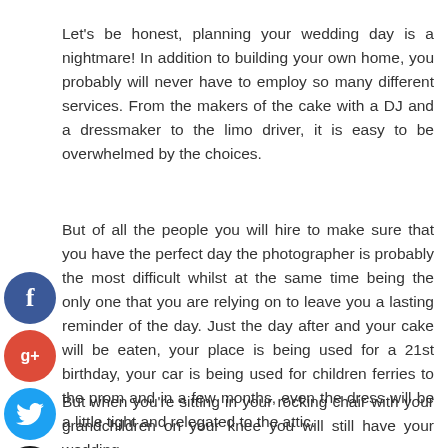Let's be honest, planning your wedding day is a nightmare! In addition to building your own home, you probably will never have to employ so many different services. From the makers of the cake with a DJ and a dressmaker to the limo driver, it is easy to be overwhelmed by the choices.
But of all the people you will hire to make sure that you have the perfect day the photographer is probably the most difficult whilst at the same time being the only one that you are relying on to leave you a lasting reminder of the day. Just the day after and your cake will be eaten, your place is being used for a 21st birthday, your car is being used for children ferries to the prom and in a few months, even the dress will be a little tight and relegated to the attic.
But when you're sitting in your rocking chair with your grandchildren on your knee you will still have your wedding